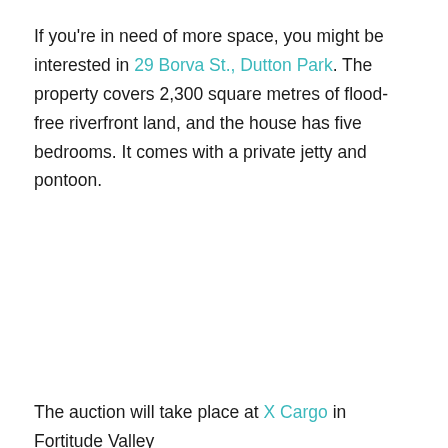If you're in need of more space, you might be interested in 29 Borva St., Dutton Park. The property covers 2,300 square metres of flood-free riverfront land, and the house has five bedrooms. It comes with a private jetty and pontoon.
The auction will take place at X Cargo in Fortitude Valley